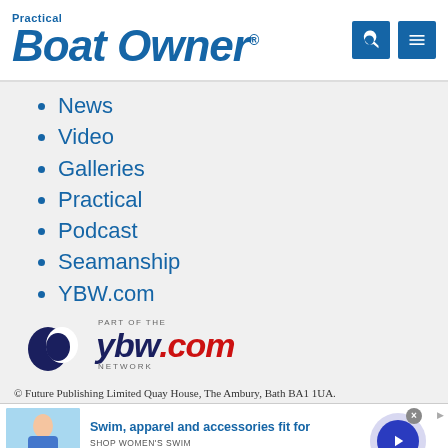Practical Boat Owner
News
Video
Galleries
Practical
Podcast
Seamanship
YBW.com
[Figure (logo): YBW.com network logo with wave icon and text 'PART OF THE ybw.com NETWORK']
© Future Publishing Limited Quay House, The Ambury, Bath BA1 1UA.
[Figure (screenshot): Advertisement banner: Swim, apparel and accessories fit for — SHOP WOMEN'S SWIM — www.landsend.com, with woman in swimwear image and navigation arrow]